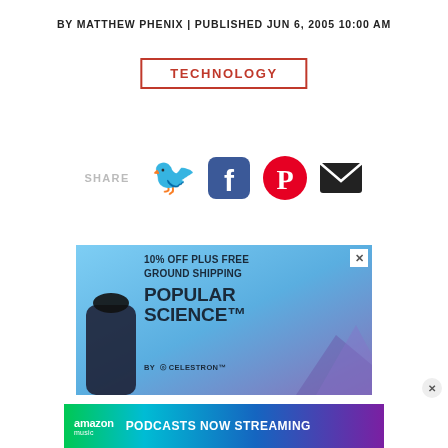BY MATTHEW PHENIX | PUBLISHED JUN 6, 2005 10:00 AM
TECHNOLOGY
[Figure (infographic): Share row with Twitter, Facebook, Pinterest, and email icons, preceded by 'SHARE' label]
[Figure (infographic): Advertisement for Popular Science by Celestron: '10% OFF PLUS FREE GROUND SHIPPING' with telescope imagery on cyan/blue gradient background]
[Figure (infographic): Amazon Music banner advertisement: 'PODCASTS NOW STREAMING' on colorful gradient background]